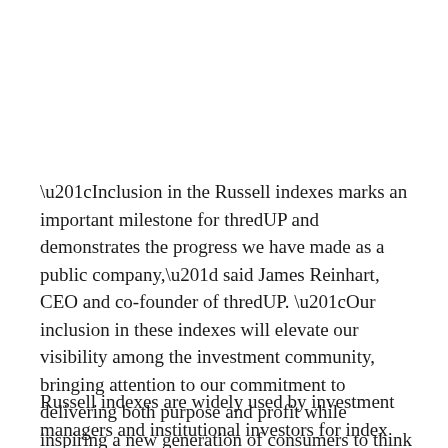“Inclusion in the Russell indexes marks an important milestone for thredUP and demonstrates the progress we have made as a public company,” said James Reinhart, CEO and co-founder of thredUP. “Our inclusion in these indexes will elevate our visibility among the investment community, bringing attention to our commitment to delivering both purpose and profit while inspiring a new generation of consumers to think secondhand first.”
Russell indexes are widely used by investment managers and institutional investors for index funds